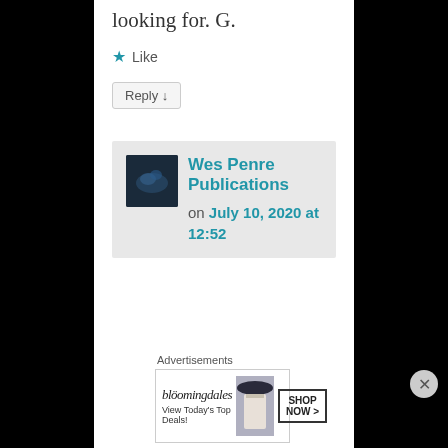looking for. G.
★ Like
Reply ↓
Wes Penre Publications on July 10, 2020 at 12:52
Advertisements
[Figure (other): Bloomingdales advertisement banner: 'bloomingdales / View Today's Top Deals!' with SHOP NOW > button and image of woman in hat]